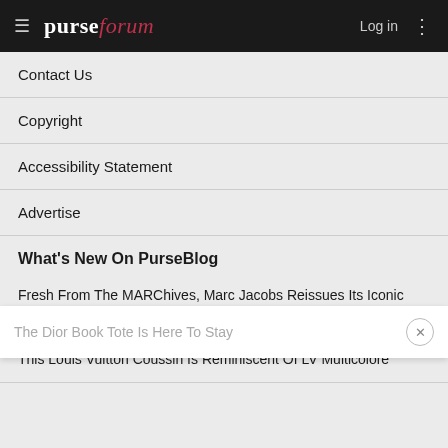purseforum — Log in
Contact Us
Copyright
Accessibility Statement
Advertise
What's New On PurseBlog
Fresh From The MARChives, Marc Jacobs Reissues Its Iconic Classic Q Bags
This Louis Vuitton Coussin Is Reminiscent Of LV Multicolore
The Dior Book Tote Is Here To Stay
The Best Bags We Spotted At Bal Harbour Shops This August
Celebs Grab Their Guccis, New Celine And More As August Winds